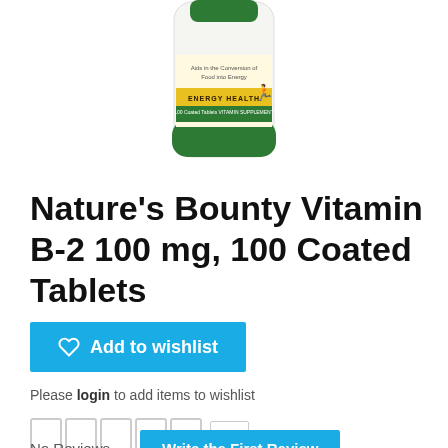[Figure (photo): Nature's Bounty Vitamin B-2 supplement bottle, white and green label with orange runner figure, showing '100 Coated Tablets Vitamin Supplement' and 'Energy Health' text, '100mg' dosage, partially cropped at top of page]
Nature’s Bounty Vitamin B-2 100 mg, 100 Coated Tablets
Add to wishlist
Please login to add items to wishlist
0.0
No Reviews
Write the First Review